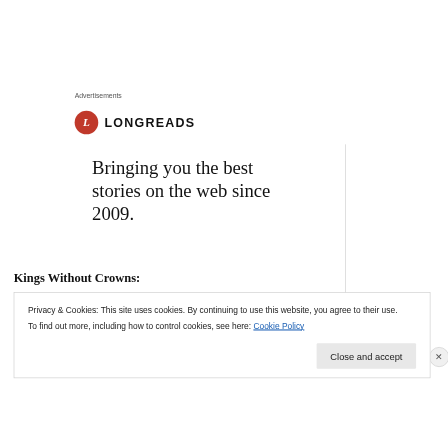Advertisements
[Figure (logo): Longreads logo: red circle with white italic L, followed by LONGREADS in bold capital letters]
Bringing you the best stories on the web since 2009.
Kings Without Crowns:
Privacy & Cookies: This site uses cookies. By continuing to use this website, you agree to their use.
To find out more, including how to control cookies, see here: Cookie Policy
Close and accept